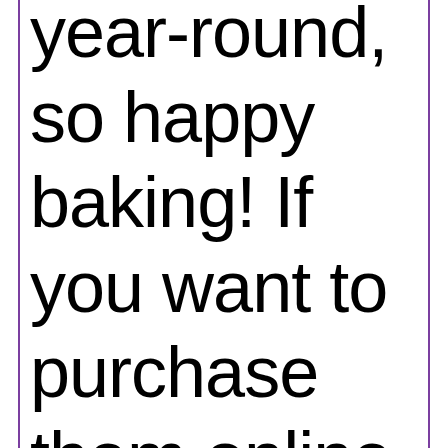year-round, so happy baking! If you want to purchase them online